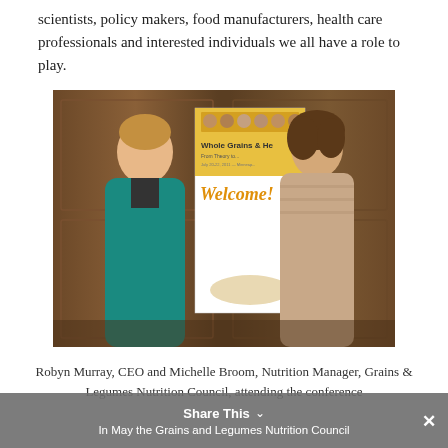scientists, policy makers, food manufacturers, health care professionals and interested individuals we all have a role to play.
[Figure (photo): Two women standing in front of a 'Whole Grains & Health: From Theory to...' conference poster with a 'Welcome!' banner. The woman on the left wears a teal jacket, the woman on the right wears a beige striped top.]
Robyn Murray, CEO and Michelle Broom, Nutrition Manager, Grains & Legumes Nutrition Council, attending the conference
Share This ∨   ×
In May the Grains and Legumes Nutrition Council